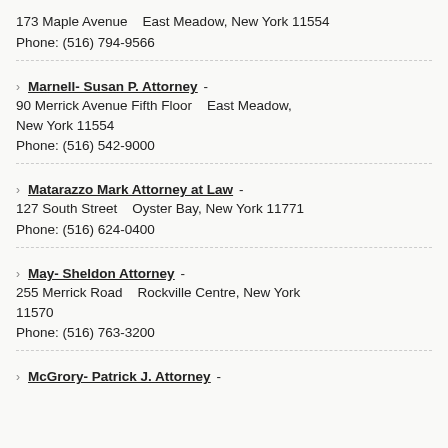173 Maple Avenue    East Meadow, New York 11554
Phone: (516) 794-9566
Marnell- Susan P. Attorney - 90 Merrick Avenue Fifth Floor    East Meadow, New York 11554
Phone: (516) 542-9000
Matarazzo Mark Attorney at Law - 127 South Street    Oyster Bay, New York 11771
Phone: (516) 624-0400
May- Sheldon Attorney - 255 Merrick Road    Rockville Centre, New York 11570
Phone: (516) 763-3200
McGrory- Patrick J. Attorney -